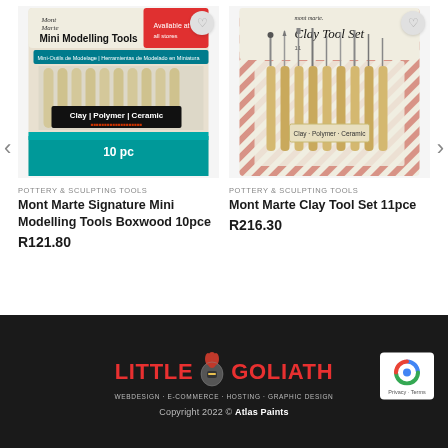[Figure (photo): Mont Marte Signature Mini Modelling Tools Boxwood 10pce product packaging photo]
[Figure (photo): Mont Marte Clay Tool Set 11pce product packaging photo]
POTTERY & SCULPTING TOOLS
Mont Marte Signature Mini Modelling Tools Boxwood 10pce
R121.80
POTTERY & SCULPTING TOOLS
Mont Marte Clay Tool Set 11pce
R216.30
LITTLE GOLIATH | WEBDESIGN · E-COMMERCE · HOSTING · GRAPHIC DESIGN | Copyright 2022 © Atlas Paints